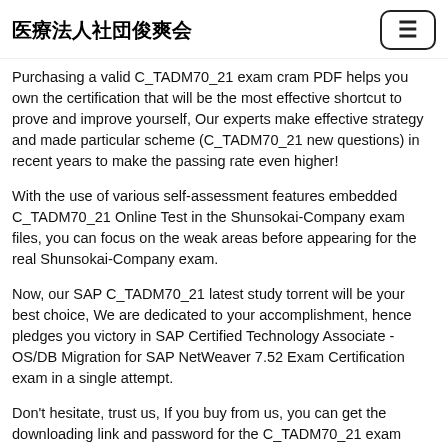医療法人社団俊爽会
Purchasing a valid C_TADM70_21 exam cram PDF helps you own the certification that will be the most effective shortcut to prove and improve yourself, Our experts make effective strategy and made particular scheme (C_TADM70_21 new questions) in recent years to make the passing rate even higher!
With the use of various self-assessment features embedded C_TADM70_21 Online Test in the Shunsokai-Company exam files, you can focus on the weak areas before appearing for the real Shunsokai-Company exam.
Now, our SAP C_TADM70_21 latest study torrent will be your best choice, We are dedicated to your accomplishment, hence pledges you victory in SAP Certified Technology Associate - OS/DB Migration for SAP NetWeaver 7.52 Exam Certification exam in a single attempt.
Don't hesitate, trust us, If you buy from us, you can get the downloading link and password for the C_TADM70_21 exam